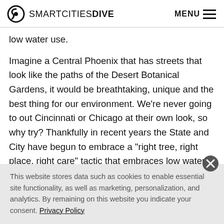SMARTCITIES DIVE   MENU
low water use.
Imagine a Central Phoenix that has streets that look like the paths of the Desert Botanical Gardens, it would be breathtaking, unique and the best thing for our environment. We're never going to out Cincinnati or Chicago at their own look, so why try? Thankfully in recent years the State and City have begun to embrace a “right tree, right place, right care” tactic that embraces low water usage trees. Whether the
This website stores data such as cookies to enable essential site functionality, as well as marketing, personalization, and analytics. By remaining on this website you indicate your consent. Privacy Policy